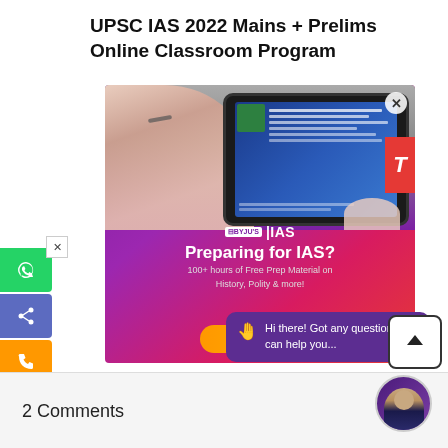UPSC IAS 2022 Mains + Prelims Online Classroom Program
[Figure (screenshot): BYJU'S IAS online classroom program advertisement showing a student viewing a tablet with online class content. The ad has a purple/magenta gradient background with BYJU'S IAS logo, text 'Preparing for IAS?', '100+ hours of Free Prep Material on History, Polity & more!', a Register button, a chat popup saying 'Hi there! Got any questions? I can help you...', WhatsApp/share/phone social sidebar, and a red accent strip on the right.]
2 Comments